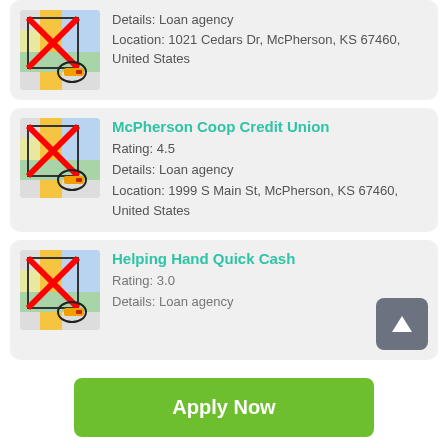[Figure (screenshot): Partial card at top showing map icon with red X, Details: Loan agency, Location: 1021 Cedars Dr, McPherson, KS 67460, United States]
McPherson Coop Credit Union
Rating: 4.5
Details: Loan agency
Location: 1999 S Main St, McPherson, KS 67460, United States
Helping Hand Quick Cash
Rating: 3.0
Details: Loan agency
Apply Now
Applying does NOT affect your credit score!
No credit check to apply.